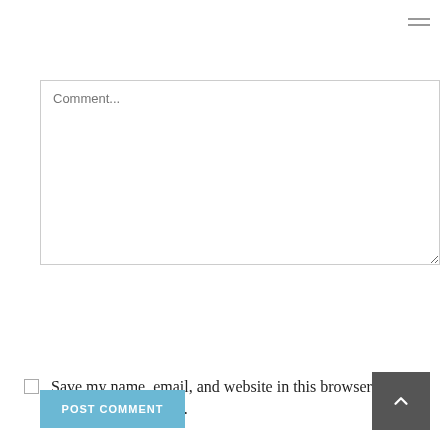[Figure (screenshot): Hamburger menu icon (three horizontal lines) at top right]
Comment...
Name (required)
Email (required)
Website
Save my name, email, and website in this browser for the next time I comment.
POST COMMENT
[Figure (other): Back to top button with upward chevron arrow]